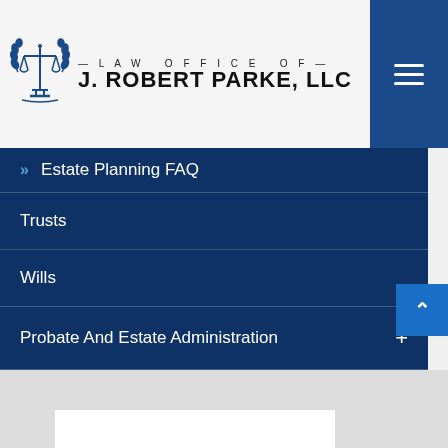[Figure (logo): Law Office of J. Robert Parke, LLC logo with scales of justice emblem]
» Estate Planning FAQ
Trusts
Wills
Probate And Estate Administration +
Business Entities And Transactions +